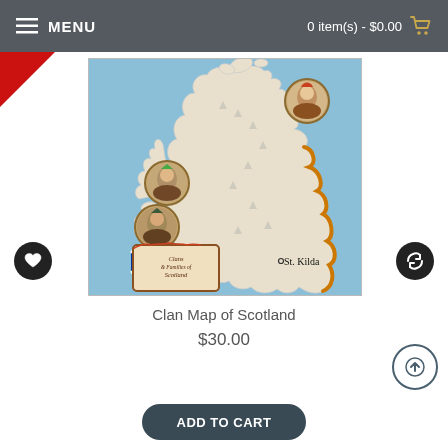MENU   0 item(s) - $0.00
[Figure (map): Vintage illustrated Clan Map of Scotland showing Scottish landmass with decorative portrait medallions of clan figures, flags, and the text 'Clans & Families of Scotland'. The map shows the distinctive shape of Scotland with surrounding blue sea, a highlighted orange border on the eastern coast, and the label 'St. Kilda' in the lower right area.]
Clan Map of Scotland
$30.00
ADD TO CART